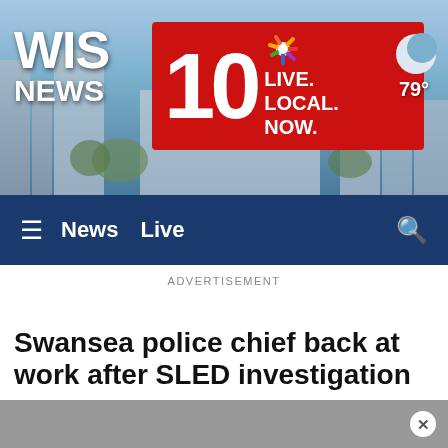[Figure (screenshot): WIS News 10 website header banner with sky and building background. Shows WIS NEWS logo on left, red box with '10' and 'LIVE. LOCAL. NOW.' text and NBC peacock logo, weather icon showing moon and 79° temperature on right.]
≡  News  Live  🔍
ADVERTISEMENT
Swansea police chief back at work after SLED investigation
The Swansea Police Department and the Lexington County Sheriff's Office requested SLED to help...